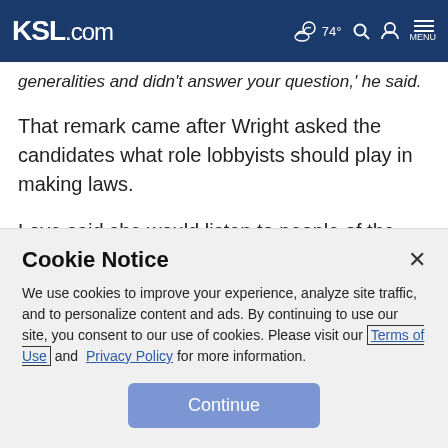KSL.com  74°  MENU
generalities and didn't answer your question,' he said.
That remark came after Wright asked the candidates what role lobbyists should play in making laws.
Love said she would listen to people of the district and make sure Utah has a voice in Washington. But then she went on to say Congress needs people who will balance the budget
Cookie Notice
We use cookies to improve your experience, analyze site traffic, and to personalize content and ads. By continuing to use our site, you consent to our use of cookies. Please visit our Terms of Use and Privacy Policy for more information.
Continue